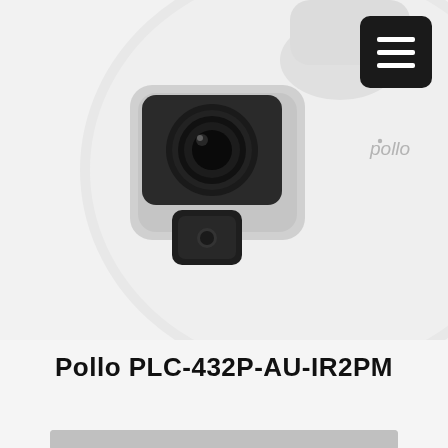[Figure (photo): White security dome/bullet camera (Pollo brand) with dark lens housing and sensor, viewed from front-left angle. 'pollo' brand name visible on camera body. Dark hamburger menu icon button in top-right corner.]
Pollo PLC-432P-AU-IR2PM
[Figure (logo): Partial view of a product box or accessory with Pollo logo (stylized bird/logo mark) and Arabic/brand text at bottom of page.]